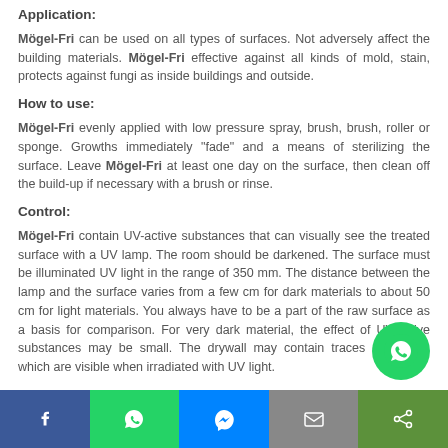Application:
Mögel-Fri can be used on all types of surfaces. Not adversely affect the building materials. Mögel-Fri effective against all kinds of mold, stain, protects against fungi as inside buildings and outside.
How to use:
Mögel-Fri evenly applied with low pressure spray, brush, brush, roller or sponge. Growths immediately "fade" and a means of sterilizing the surface. Leave Mögel-Fri at least one day on the surface, then clean off the build-up if necessary with a brush or rinse.
Control:
Mögel-Fri contain UV-active substances that can visually see the treated surface with a UV lamp. The room should be darkened. The surface must be illuminated UV light in the range of 350 mm. The distance between the lamp and the surface varies from a few cm for dark materials to about 50 cm for light materials. You always have to be a part of the raw surface as a basis for comparison. For very dark material, the effect of UV-active substances may be small. The drywall may contain traces of bleach, which are visible when irradiated with UV light.
[Figure (infographic): Social media sharing bar at the bottom with Facebook, WhatsApp, Messenger, Email, and Share buttons. A floating WhatsApp button is also visible.]